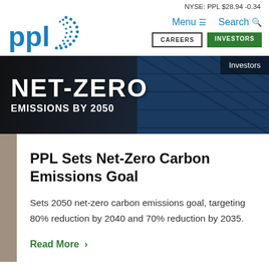NYSE: PPL $28.94 -0.34
[Figure (logo): PPL Corporation logo — blue 'ppl' letters with sunburst/dots arc on the right side]
Menu  Search
CAREERS  INVESTORS
[Figure (photo): Hero banner image with text 'NET-ZERO EMISSIONS BY 2050' in large white bold letters over dark background with solar panels. 'Investors' badge in top right corner.]
PPL Sets Net-Zero Carbon Emissions Goal
Sets 2050 net-zero carbon emissions goal, targeting 80% reduction by 2040 and 70% reduction by 2035.
Read More  >